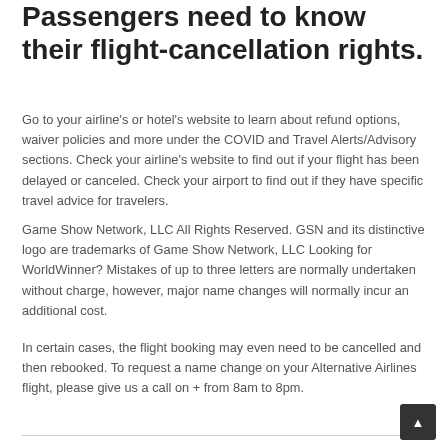Passengers need to know their flight-cancellation rights.
Go to your airline's or hotel's website to learn about refund options, waiver policies and more under the COVID and Travel Alerts/Advisory sections. Check your airline's website to find out if your flight has been delayed or canceled. Check your airport to find out if they have specific travel advice for travelers.
Game Show Network, LLC All Rights Reserved. GSN and its distinctive logo are trademarks of Game Show Network, LLC Looking for WorldWinner? Mistakes of up to three letters are normally undertaken without charge, however, major name changes will normally incur an additional cost.
In certain cases, the flight booking may even need to be cancelled and then rebooked. To request a name change on your Alternative Airlines flight, please give us a call on + from 8am to 8pm.